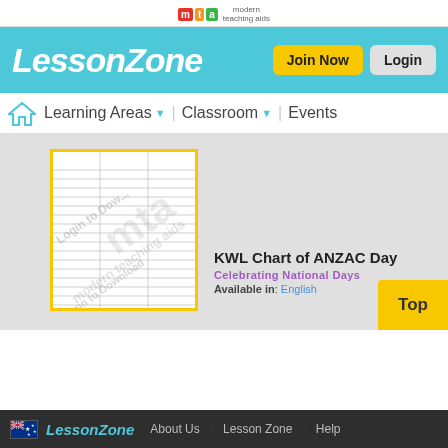mta modern teaching aids
LessonZone
Join Now | Login
Learning Areas   Classroom   Events
[Figure (screenshot): Document preview showing a KWL chart worksheet with lined paper and watermark 'Login to Download' and 'mta modern teaching aids' stamped diagonally]
KWL Chart of ANZAC Day
Celebrating National Days
Available in: English
LessonZone   About Us   Lesson Zone   Help